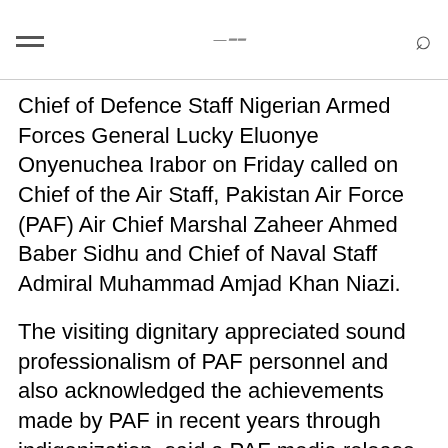≡  [logo]  🔍
Chief of Defence Staff Nigerian Armed Forces General Lucky Eluonye Onyenuchea Irabor on Friday called on Chief of the Air Staff, Pakistan Air Force (PAF) Air Chief Marshal Zaheer Ahmed Baber Sidhu and Chief of Naval Staff Admiral Muhammad Amjad Khan Niazi.
The visiting dignitary appreciated sound professionalism of PAF personnel and also acknowledged the achievements made by PAF in recent years through indigenization, said a PAF media release.
The Air Chief said that Pakistan and Nigeria had longstanding religious, cultural and historical bonds which were manifested through strong ties between the Air Forces of the two countries.
Pakistan To visit the opportunity...